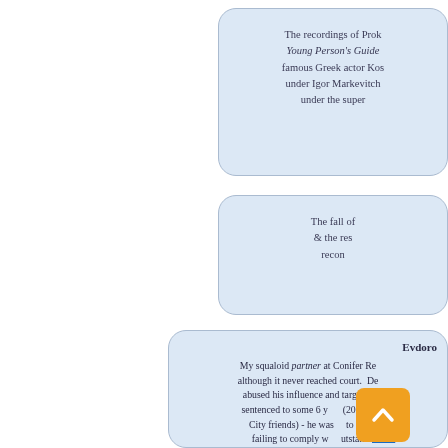The recordings of Prok... Young Person's Guide ... famous Greek actor Kos... under Igor Markevitch ... under the super...
The fall of... & the res... recon...
Evdoro...
My squaloid partner at Conifer Re... although it never reached court. De... abused his influence and targeted... sentenced to some 6 y... (2017) - ... City friends) - he was ... to pri... failing to comply w... utstan...
Unturn...